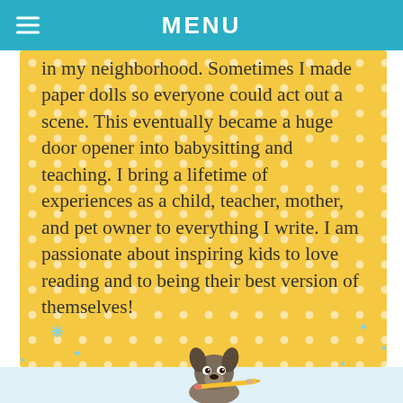MENU
in my neighborhood. Sometimes I made paper dolls so everyone could act out a scene. This eventually became a huge door opener into babysitting and teaching. I bring a lifetime of experiences as a child, teacher, mother, and pet owner to everything I write. I am passionate about inspiring kids to love reading and to being their best version of themselves!
[Figure (illustration): Cartoon dog holding a pencil in its mouth, illustrated in a children's book style, appearing at the bottom of the page against a light blue background with snowflake/asterisk decorations.]